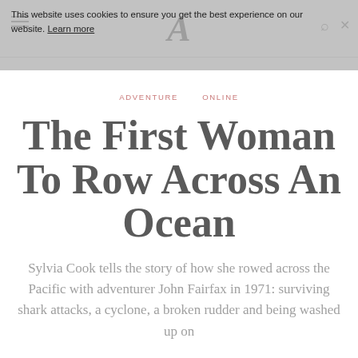A (The Atlantic logo)
This website uses cookies to ensure you get the best experience on our website. Learn more
ADVENTURE   ONLINE
The First Woman To Row Across An Ocean
Sylvia Cook tells the story of how she rowed across the Pacific with adventurer John Fairfax in 1971: surviving shark attacks, a cyclone, a broken rudder and being washed up on